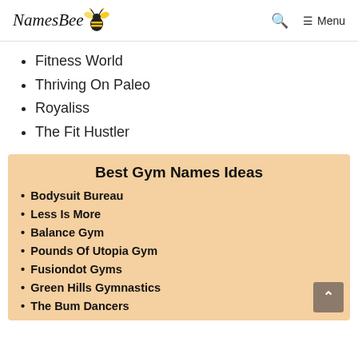NamesBee — Search Menu
Fitness World
Thriving On Paleo
Royaliss
The Fit Hustler
[Figure (infographic): Best Gym Names Ideas infographic on peach/tan background listing: Bodysuit Bureau, Less Is More, Balance Gym, Pounds Of Utopia Gym, Fusiondot Gyms, Green Hills Gymnastics, The Bum Dancers]